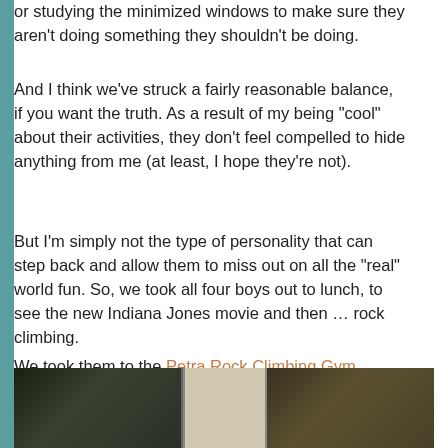or studying the minimized windows to make sure they aren't doing something they shouldn't be doing.
And I think we’ve struck a fairly reasonable balance, if you want the truth. As a result of my being “cool” about their activities, they don’t feel compelled to hide anything from me (at least, I hope they’re not).
But I’m simply not the type of personality that can step back and allow them to miss out on all the “real” world fun. So, we took all four boys out to lunch, to see the new Indiana Jones movie and then … rock climbing.
We took them to the Petra Rock Climbing Gym.
The boys got suited up …
[Figure (photo): A photo strip showing boys at a rock climbing gym, getting suited up with equipment.]